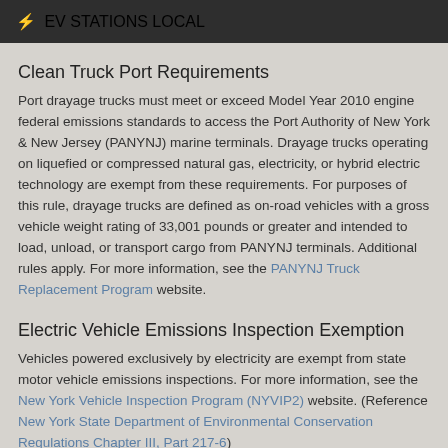⚡ EV STATIONS LOCAL
Clean Truck Port Requirements
Port drayage trucks must meet or exceed Model Year 2010 engine federal emissions standards to access the Port Authority of New York & New Jersey (PANYNJ) marine terminals. Drayage trucks operating on liquefied or compressed natural gas, electricity, or hybrid electric technology are exempt from these requirements. For purposes of this rule, drayage trucks are defined as on-road vehicles with a gross vehicle weight rating of 33,001 pounds or greater and intended to load, unload, or transport cargo from PANYNJ terminals. Additional rules apply. For more information, see the PANYNJ Truck Replacement Program website.
Electric Vehicle Emissions Inspection Exemption
Vehicles powered exclusively by electricity are exempt from state motor vehicle emissions inspections. For more information, see the New York Vehicle Inspection Program (NYVIP2) website. (Reference New York State Department of Environmental Conservation Regulations Chapter III, Part 217-6)